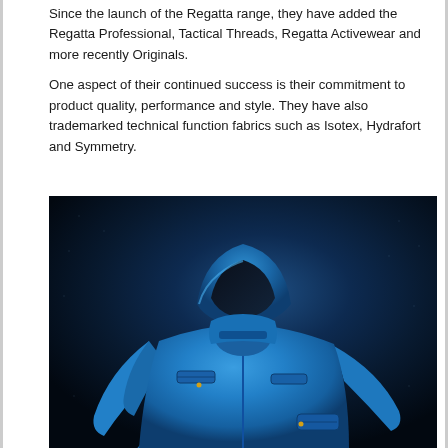Since the launch of the Regatta range, they have added the Regatta Professional, Tactical Threads, Regatta Activewear and more recently Originals.
One aspect of their continued success is their commitment to product quality, performance and style. They have also trademarked technical function fabrics such as Isotex, Hydrafort and Symmetry.
[Figure (photo): A person wearing a bright blue hooded outdoor jacket, photographed against a dark textured background. The hood is up and covers their face. The jacket features multiple pockets and zippers.]